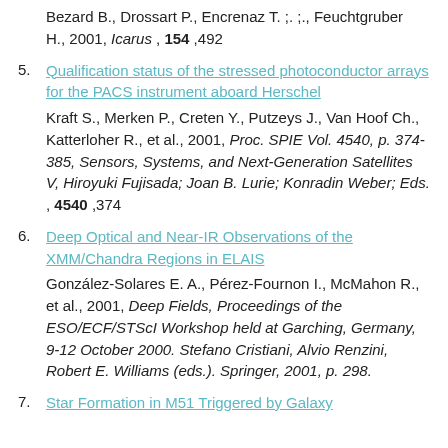Bezard B., Drossart P., Encrenaz T. ;. ;., Feuchtgruber H., 2001, Icarus , 154 ,492
5. Qualification status of the stressed photoconductor arrays for the PACS instrument aboard Herschel
Kraft S., Merken P., Creten Y., Putzeys J., Van Hoof Ch., Katterloher R., et al., 2001, Proc. SPIE Vol. 4540, p. 374-385, Sensors, Systems, and Next-Generation Satellites V, Hiroyuki Fujisada; Joan B. Lurie; Konradin Weber; Eds. , 4540 ,374
6. Deep Optical and Near-IR Observations of the XMM/Chandra Regions in ELAIS
González-Solares E. A., Pérez-Fournon I., McMahon R., et al., 2001, Deep Fields, Proceedings of the ESO/ECF/STScI Workshop held at Garching, Germany, 9-12 October 2000. Stefano Cristiani, Alvio Renzini, Robert E. Williams (eds.). Springer, 2001, p. 298.
7. Star Formation in M51 Triggered by Galaxy